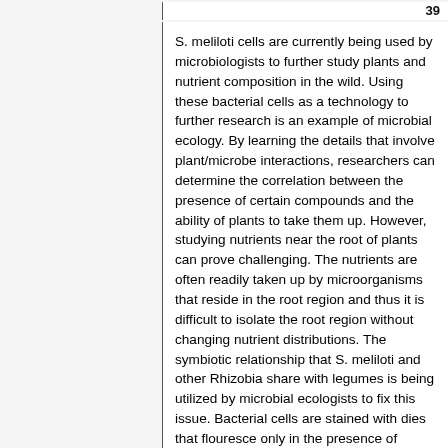39
S. meliloti cells are currently being used by microbiologists to further study plants and nutrient composition in the wild. Using these bacterial cells as a technology to further research is an example of microbial ecology. By learning the details that involve plant/microbe interactions, researchers can determine the correlation between the presence of certain compounds and the ability of plants to take them up. However, studying nutrients near the root of plants can prove challenging. The nutrients are often readily taken up by microorganisms that reside in the root region and thus it is difficult to isolate the root region without changing nutrient distributions. The symbiotic relationship that S. meliloti and other Rhizobia share with legumes is being utilized by microbial ecologists to fix this issue. Bacterial cells are stained with dies that flouresce only in the presence of certain nutrients in the root or the soil. The biosensing bacteria are added to plants and they illuminate to indicate regions where particular nutrients